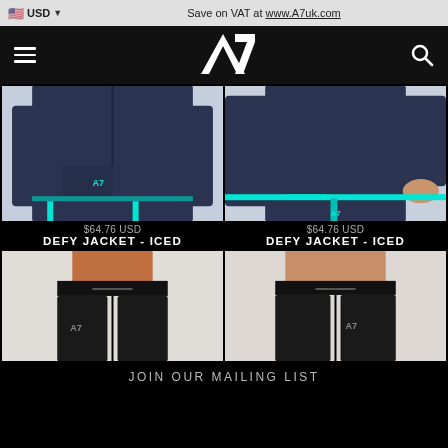USD  |  Save on VAT at www.A7uk.com
[Figure (logo): A7 brand logo in white on black navigation bar with hamburger menu and search icon]
[Figure (photo): Navy blue A7 Defy Jacket with teal/cyan accent stripe, men's version, front view]
[Figure (photo): Navy blue A7 Defy Jacket with teal/cyan accent stripe, women's version, back view]
$64.76 USD
DEFY JACKET - ICED
$64.76 USD
DEFY JACKET - ICED
[Figure (photo): Black A7 athletic pants, men's version, front view showing A7 logo]
[Figure (photo): Black A7 athletic pants, women's version, side view]
JOIN OUR MAILING LIST